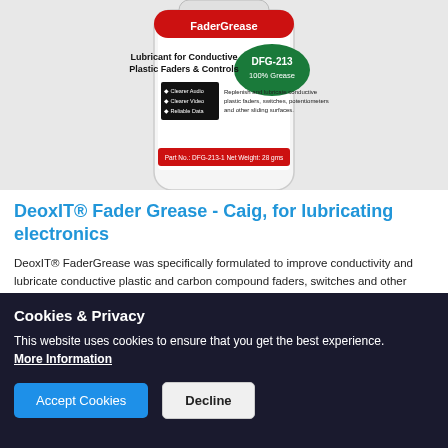[Figure (photo): Product image of DeoxIT Fader Grease DFG-213 bottle, showing a white cylindrical container with label reading 'Lubricant for Conductive Plastic Faders & Controls', DFG-213 100% Grease in green oval, and part number DFG-213-1 Net Weight: 28 gms on a red band at the bottom.]
DeoxIT® Fader Grease - Caig, for lubricating electronics
DeoxIT® FaderGrease was specifically formulated to improve conductivity and lubricate conductive plastic and carbon compound faders, switches and other mechanisms with sliding surfaces. Provides clearer audio, clearer video, and reliable data. Over time these components lose their original lubrication from wear and/or repeated cleaning. Dust, dirt, smoke, drink spills and other contamination also degrade the components' lubricant. Re-lubrication is
Cookies & Privacy
This website uses cookies to ensure that you get the best experience.
More Information
Accept Cookies    Decline